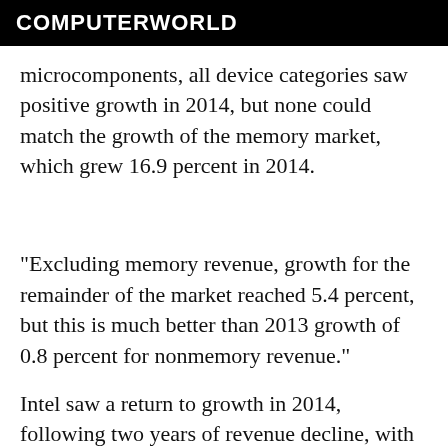COMPUTERWORLD
microcomponents, all device categories saw positive growth in 2014, but none could match the growth of the memory market, which grew 16.9 percent in 2014.
"Excluding memory revenue, growth for the remainder of the market reached 5.4 percent, but this is much better than 2013 growth of 0.8 percent for nonmemory revenue."
Intel saw a return to growth in 2014, following two years of revenue decline, with 4.6 percent growth, with the company reorganising itself into five new